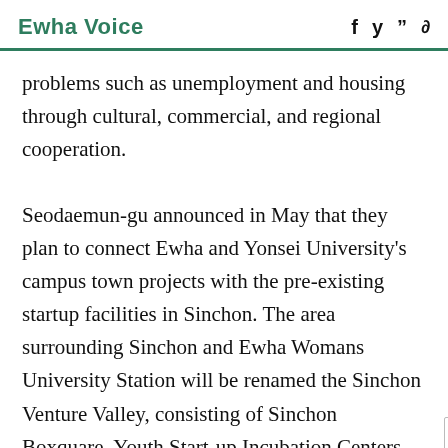Ewha Voice
problems such as unemployment and housing through cultural, commercial, and regional cooperation.
Seodaemun-gu announced in May that they plan to connect Ewha and Yonsei University's campus town projects with the pre-existing startup facilities in Sinchon. The area surrounding Sinchon and Ewha Womans University Station will be renamed the Sinchon Venture Valley, consisting of Sinchon Boxquare, Youth Start-up Incubation Centers, Sinchon Parang Kore, and more, further